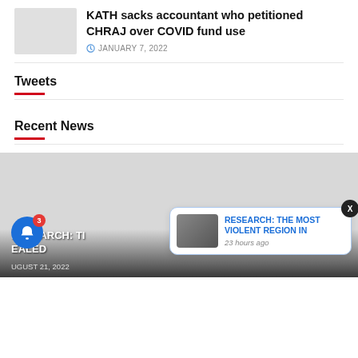[Figure (photo): Thumbnail image placeholder (light gray) for article about KATH sacking accountant]
KATH sacks accountant who petitioned CHRAJ over COVID fund use
JANUARY 7, 2022
Tweets
Recent News
[Figure (photo): Large gray placeholder image for recent news article. Overlaid text reads: RESEARCH: TH... EALED. Date: AUGUST 21, 2022. Notification popup visible with headline: RESEARCH: THE MOST VIOLENT REGION IN. Time: 23 hours ago.]